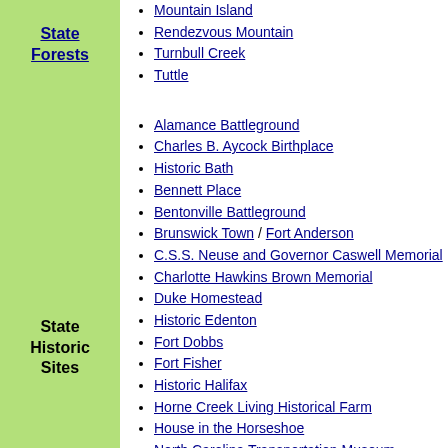Mountain Island
Rendezvous Mountain
Turnbull Creek
Tuttle
State Forests
Alamance Battleground
Charles B. Aycock Birthplace
Historic Bath
Bennett Place
Bentonville Battleground
Brunswick Town / Fort Anderson
C.S.S. Neuse and Governor Caswell Memorial
Charlotte Hawkins Brown Memorial
Duke Homestead
Historic Edenton
Fort Dobbs
Fort Fisher
Historic Halifax
Horne Creek Living Historical Farm
House in the Horseshoe
North Carolina Transportation Museum
President James K. Polk Historic Site
Reed Gold Mine
State Historic Sites